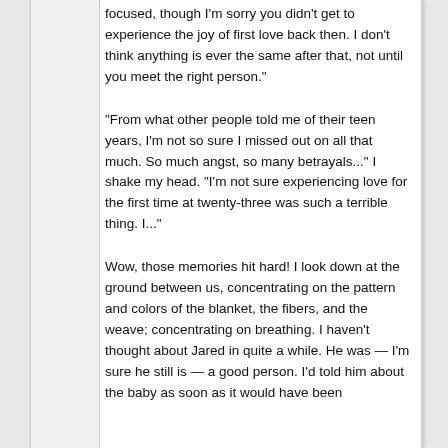focused, though I'm sorry you didn't get to experience the joy of first love back then. I don't think anything is ever the same after that, not until you meet the right person."
"From what other people told me of their teen years, I'm not so sure I missed out on all that much. So much angst, so many betrayals..." I shake my head. "I'm not sure experiencing love for the first time at twenty-three was such a terrible thing. I..."
Wow, those memories hit hard! I look down at the ground between us, concentrating on the pattern and colors of the blanket, the fibers, and the weave; concentrating on breathing. I haven't thought about Jared in quite a while. He was — I'm sure he still is — a good person. I'd told him about the baby as soon as it would have been